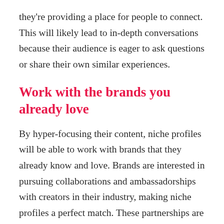they're providing a place for people to connect. This will likely lead to in-depth conversations because their audience is eager to ask questions or share their own similar experiences.
Work with the brands you already love
By hyper-focusing their content, niche profiles will be able to work with brands that they already know and love. Brands are interested in pursuing collaborations and ambassadorships with creators in their industry, making niche profiles a perfect match. These partnerships are valuable because creators already focus on topics that appeal to a brand's potential